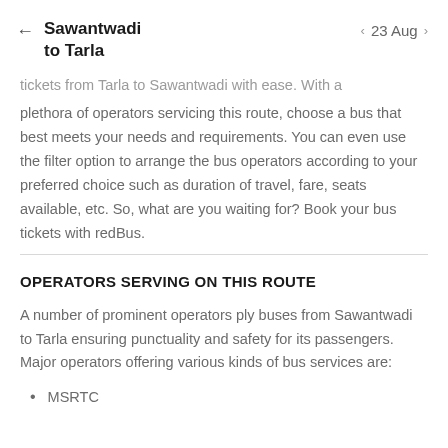Sawantwadi to Tarla | 23 Aug
tickets from Tarla to Sawantwadi with ease. With a plethora of operators servicing this route, choose a bus that best meets your needs and requirements. You can even use the filter option to arrange the bus operators according to your preferred choice such as duration of travel, fare, seats available, etc. So, what are you waiting for? Book your bus tickets with redBus.
OPERATORS SERVING ON THIS ROUTE
A number of prominent operators ply buses from Sawantwadi to Tarla ensuring punctuality and safety for its passengers. Major operators offering various kinds of bus services are:
MSRTC